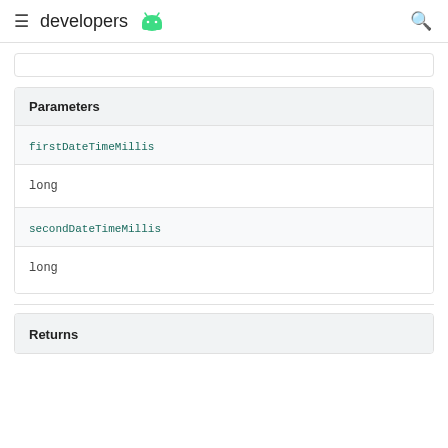developers
| Parameters |
| --- |
| firstDateTimeMillis | long |
| secondDateTimeMillis | long |
Returns